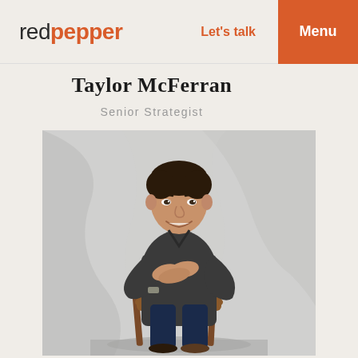redpepper  Let's talk  Menu
Taylor McFerran
Senior Strategist
[Figure (photo): Professional headshot of Taylor McFerran, a man in a dark gray shirt leaning forward with arms crossed over the back of a wooden chair, smiling, against a white draped backdrop.]